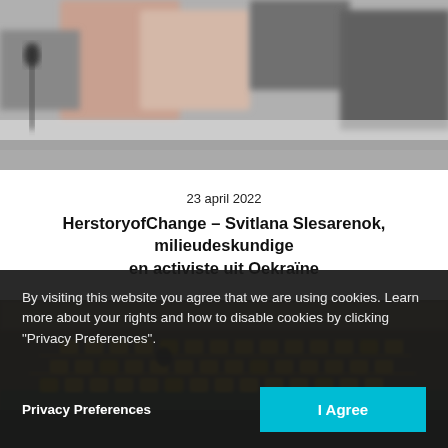[Figure (photo): Blurred/cropped photo showing a person or speaker at the top of the page]
23 april 2022
HerstoryofChange – Svitlana Slesarenok, milieudeskundige en activiste uit Oekraïne
[Figure (photo): Photo of a large conference/assembly hall with rows of empty golden chairs]
By visiting this website you agree that we are using cookies. Learn more about your rights and how to disable cookies by clicking "Privacy Preferences".
Privacy Preferences
I Agree